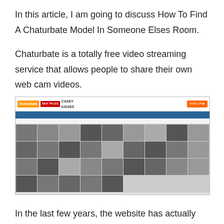In this article, I am going to discuss How To Find A Chaturbate Model In Someone Elses Room.
Chaturbate is a totally free video streaming service that allows people to share their own web cam videos.
[Figure (screenshot): Screenshot of the Chaturbate website showing a grid of webcam model thumbnails with navigation bar and sign up button]
In the last few years, the website has actually ended up being a popular way for individuals to display their favorite body parts and to masturbate in front of a video camera.